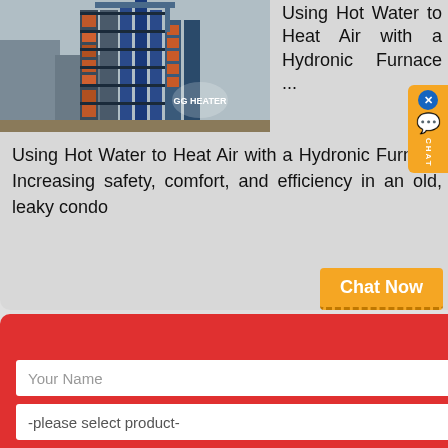[Figure (photo): Industrial crane/heating tower structure with blue scaffolding and orange/red cladding, GG Heater logo visible]
Using Hot Water to Heat Air with a Hydronic Furnace ...
Using Hot Water to Heat Air with a Hydronic Furnace Increasing safety, comfort, and efficiency in an old, leaky condo
Chat Now
[Figure (screenshot): Chat widget with X close button, speech bubble icon, and CHAT label on orange background]
X
Your Name
E-mail
-please select product-
capacity
↓↓↓More information↓↓↓
Submit
KA Heating Services Ltd – Home
Discover the services of KA Redhill, Surrey who